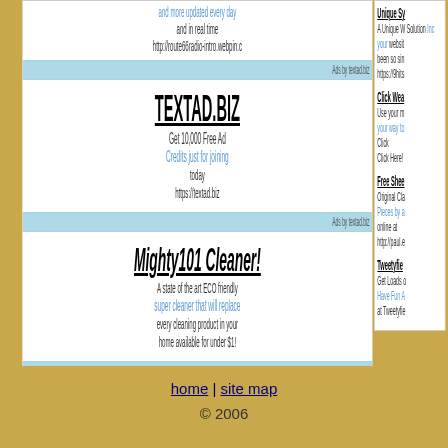and more updated every day
and in real time
http://route66radio-intro.webpin.c
Ads by textad.biz
TEXTAD.BIZ
Get 10,000 Free Ad
Credits just for joining
today
https://textad.biz
Ads by textad.biz
Mighty101 Cleaner!
A state of the art ECO friendly
super cleaner that will replace
every cleaning product in your
home available for under $1!
Ads by textad.biz
Unique Sy
A Unique W Solution Inc your websit been so sin https://9hits
Click Wea
Use your m your way to Click
Click Here!
Free Shee
Original Cla Pieces by a online at
http://paul.e
Tweetyfie
Get Loads o Have Fun A at Tweetyfie
home | site map
© 2006